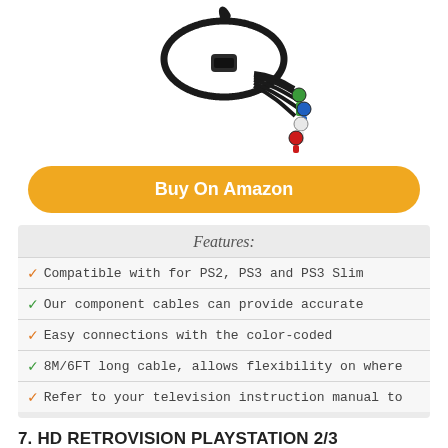[Figure (photo): A component cable with a PlayStation AV connector on one end and five color-coded RCA connectors (green, blue, white, red) on the other end, coiled on a white background.]
Buy On Amazon
Features:
Compatible with for PS2, PS3 and PS3 Slim
Our component cables can provide accurate
Easy connections with the color-coded
8M/6FT long cable, allows flexibility on where
Refer to your television instruction manual to
7. HD RETROVISION PLAYSTATION 2/3 (PS2/PS3) PREMIUM YPBPR COMPONENT VIDEO CABLE